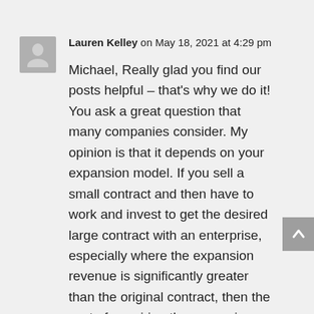Lauren Kelley on May 18, 2021 at 4:29 pm
Michael, Really glad you find our posts helpful – that's why we do it! You ask a great question that many companies consider. My opinion is that it depends on your expansion model. If you sell a small contract and then have to work and invest to get the desired large contract with an enterprise, especially where the expansion revenue is significantly greater than the original contract, then the cost of acquiring the expansion revenue should be included in CAC. If